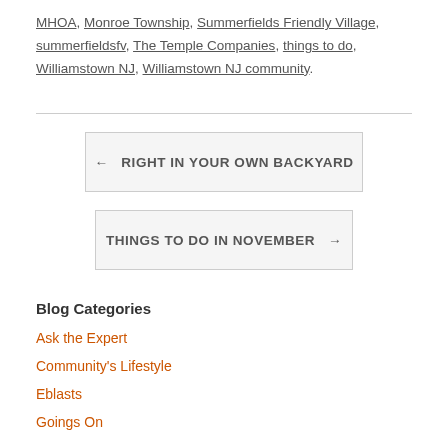MHOA, Monroe Township, Summerfields Friendly Village, summerfieldsfv, The Temple Companies, things to do, Williamstown NJ, Williamstown NJ community.
← RIGHT IN YOUR OWN BACKYARD
THINGS TO DO IN NOVEMBER →
Blog Categories
Ask the Expert
Community's Lifestyle
Eblasts
Goings On